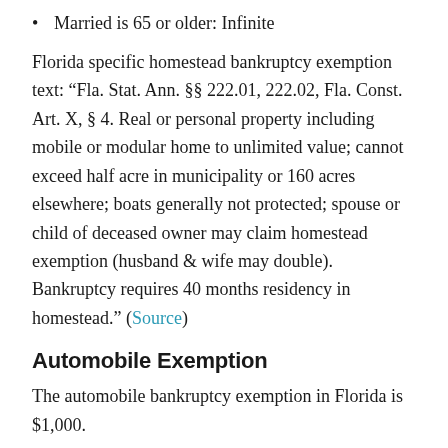Married is 65 or older: Infinite
Florida specific homestead bankruptcy exemption text: “Fla. Stat. Ann. §§ 222.01, 222.02, Fla. Const. Art. X, § 4. Real or personal property including mobile or modular home to unlimited value; cannot exceed half acre in municipality or 160 acres elsewhere; boats generally not protected; spouse or child of deceased owner may claim homestead exemption (husband & wife may double). Bankruptcy requires 40 months residency in homestead.” (Source)
Automobile Exemption
The automobile bankruptcy exemption in Florida is $1,000.
Wildcard Exemption
The wildcard bankruptcy exemption in Florida is